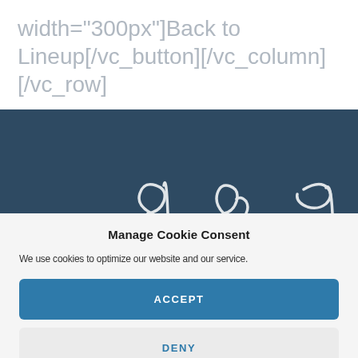width="300px"]Back to Lineup[/vc_button][/vc_column][/vc_row]
[Figure (illustration): Dark blue-gray banner with decorative white cursive/script letterforms partially visible at the bottom]
Manage Cookie Consent
We use cookies to optimize our website and our service.
ACCEPT
DENY